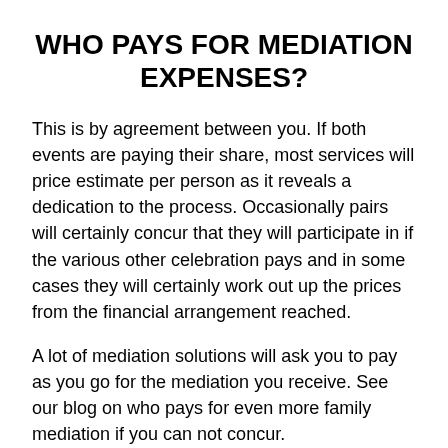WHO PAYS FOR MEDIATION EXPENSES?
This is by agreement between you. If both events are paying their share, most services will price estimate per person as it reveals a dedication to the process. Occasionally pairs will certainly concur that they will participate in if the various other celebration pays and in some cases they will certainly work out up the prices from the financial arrangement reached.
A lot of mediation solutions will ask you to pay as you go for the mediation you receive. See our blog on who pays for even more family mediation if you can not concur.